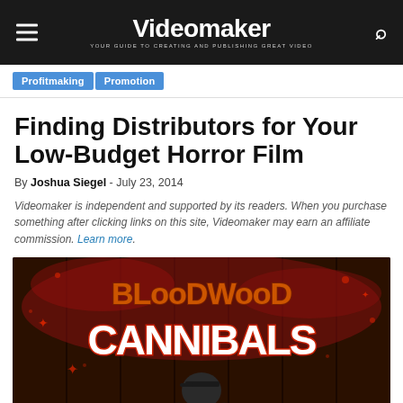Videomaker — YOUR GUIDE TO CREATING AND PUBLISHING GREAT VIDEO
Profitmaking | Promotion
Finding Distributors for Your Low-Budget Horror Film
By Joshua Siegel - July 23, 2014
Videomaker is independent and supported by its readers. When you purchase something after clicking links on this site, Videomaker may earn an affiliate commission. Learn more.
[Figure (photo): Movie poster for Bloodwood Cannibals horror film showing stylized horror text with orange and red grunge lettering over a dark background, with a figure wearing a cap at the bottom.]